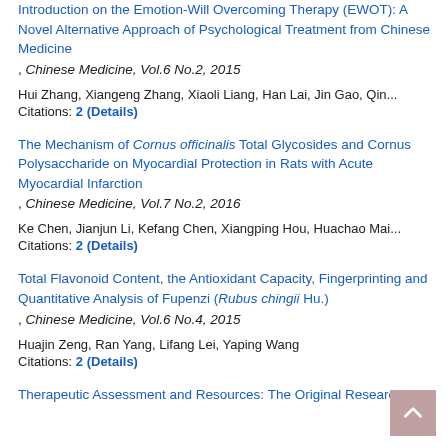Introduction on the Emotion-Will Overcoming Therapy (EWOT): A Novel Alternative Approach of Psychological Treatment from Chinese Medicine, Chinese Medicine, Vol.6 No.2, 2015
Hui Zhang, Xiangeng Zhang, Xiaoli Liang, Han Lai, Jin Gao, Qin...
Citations: 2 (Details)
The Mechanism of Cornus officinalis Total Glycosides and Cornus Polysaccharide on Myocardial Protection in Rats with Acute Myocardial Infarction, Chinese Medicine, Vol.7 No.2, 2016
Ke Chen, Jianjun Li, Kefang Chen, Xiangping Hou, Huachao Mai...
Citations: 2 (Details)
Total Flavonoid Content, the Antioxidant Capacity, Fingerprinting and Quantitative Analysis of Fupenzi (Rubus chingii Hu.), Chinese Medicine, Vol.6 No.4, 2015
Huajin Zeng, Ran Yang, Lifang Lei, Yaping Wang
Citations: 2 (Details)
Therapeutic Assessment Resources: The Original Research...